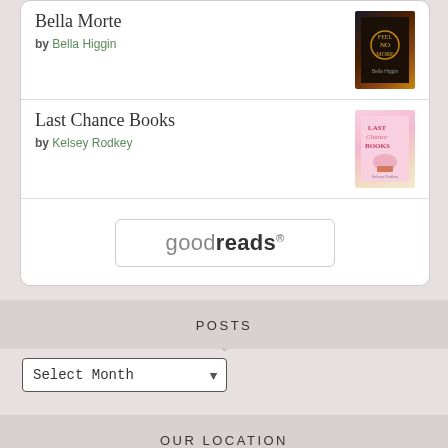Bella Morte
by Bella Higgin
Last Chance Books
by Kelsey Rodkey
[Figure (logo): Goodreads button/logo with border]
POSTS
Select Month
OUR LOCATION